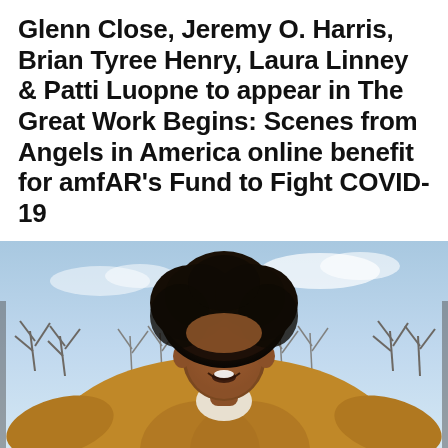Glenn Close, Jeremy O. Harris, Brian Tyree Henry, Laura Linney & Patti Luopne to appear in The Great Work Begins: Scenes from Angels in America online benefit for amfAR's Fund to Fight COVID-19
[Figure (photo): A Black man with a large natural afro hairstyle, wearing a tan/golden fur coat, gesturing with both hands, with bare winter trees and a blue sky visible in the background behind him.]